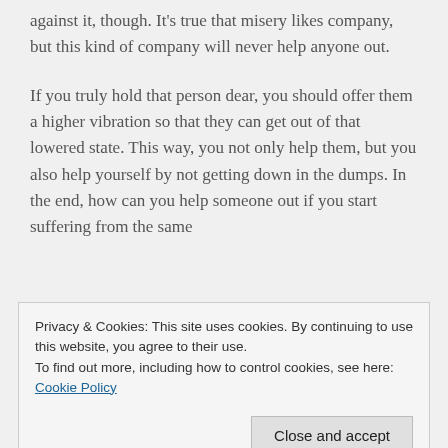against it, though. It's true that misery likes company, but this kind of company will never help anyone out.
If you truly hold that person dear, you should offer them a higher vibration so that they can get out of that lowered state. This way, you not only help them, but you also help yourself by not getting down in the dumps. In the end, how can you help someone out if you start suffering from the same
Privacy & Cookies: This site uses cookies. By continuing to use this website, you agree to their use.
To find out more, including how to control cookies, see here: Cookie Policy
grow. These challenges may often feel negative and